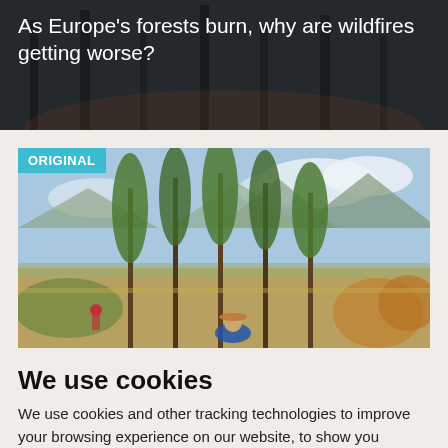[Figure (photo): Dark image of a forest fire scene with overlay text about Europe's wildfires]
As Europe's forests burn, why are wildfires getting worse?
[Figure (photo): Outdoor photo of tall thin trees in a dry landscape with mountains in the background; people visible in foreground; ORIGINAL badge in top-left corner]
We use cookies
We use cookies and other tracking technologies to improve your browsing experience on our website, to show you personalized content and targeted ads, to analyze our website traffic, and to understand where our visitors are coming from.